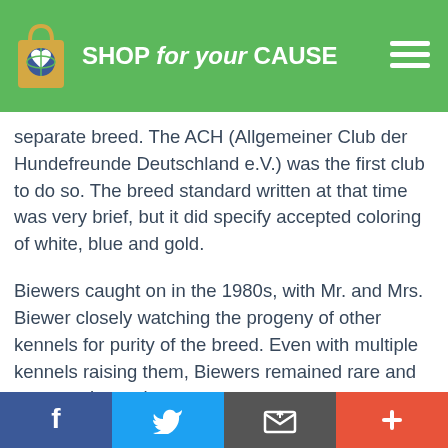SHOP for your CAUSE
separate breed. The ACH (Allgemeiner Club der Hundefreunde Deutschland e.V.) was the first club to do so. The breed standard written at that time was very brief, but it did specify accepted coloring of white, blue and gold.
Biewers caught on in the 1980s, with Mr. and Mrs. Biewer closely watching the progeny of other kennels for purity of the breed. Even with multiple kennels raising them, Biewers remained rare and as a result, costly.
Social share bar: Facebook, Twitter, Email, Plus